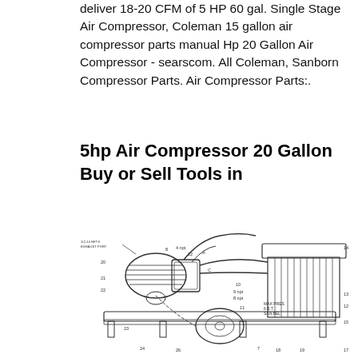deliver 18-20 CFM of 5 HP 60 gal. Single Stage Air Compressor, Coleman 15 gallon air compressor parts manual Hp 20 Gallon Air Compressor - searscom. All Coleman, Sanborn Compressor Parts. Air Compressor Parts:.
5hp Air Compressor 20 Gallon Buy or Sell Tools in
[Figure (engineering-diagram): Exploded/assembly diagram of a single stage air compressor showing the compressor pump, cylinder, motor, belt drive, tank, and various labeled parts with callout numbers.]